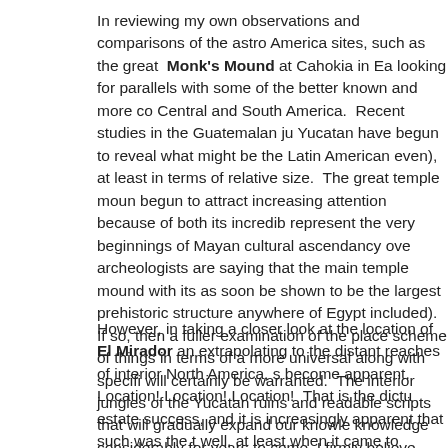In reviewing my own observations and comparisons of the astro America sites, such as the great Monk's Mound at Cahokia in Ea looking for parallels with some of the better known and more co Central and South America. Recent studies in the Guatemalan ju Yucatan have begun to reveal what might be the Latin American even), at least in terms of relative size. The great temple moun begun to attract increasing attention because of both its incredib represent the very beginnings of Mayan cultural ascendancy ove archeologists are saying that the main temple mound with its as soon be shown to be the largest prehistoric structure anywhere of Egypt included). If so, then a fuller examination of the place scheme of things in terms of a more universal along with specifi will certainly be warranted. The interior jungles of the Yucatan ruins and readable scripts that will gradually expand our knowle knowledge considerably for years to come, I firmly believe.
However, in taking a closer look at the location of El Mirador an extrapolating to the distant reaches of interior North America, s become apparent. Location! Location! Location! That is the dictu estate success, and it is increasingly apparent that such was the t well, at least when it came to situating important ceremonial ce movements of the stars, sun, and moon. Here we have the lar